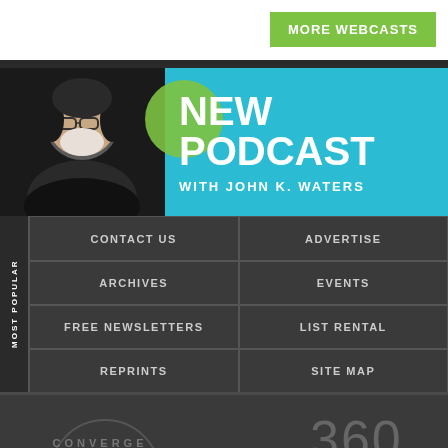MORE WEBCASTS
[Figure (infographic): NEW PODCAST with John K. Waters banner with host photo, teal background and green circle accent]
| CONTACT US | ADVERTISE |
| ARCHIVES | EVENTS |
| FREE NEWSLETTERS | LIST RENTAL |
| REPRINTS | SITE MAP |
[Figure (logo): Converge 360 logo with partial circular arc and large 360 text]